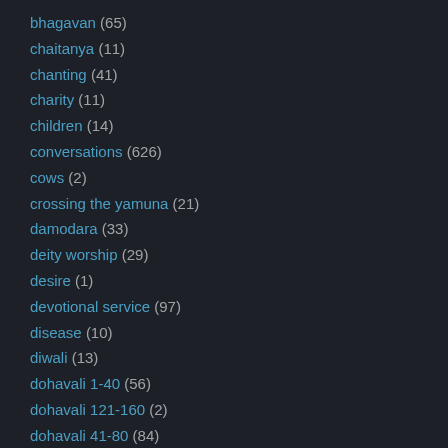bhagavan (65)
chaitanya (11)
chanting (41)
charity (11)
children (14)
conversations (626)
cows (2)
crossing the yamuna (21)
damodara (33)
deity worship (29)
desire (1)
devotional service (97)
disease (10)
diwali (13)
dohavali 1-40 (56)
dohavali 121-160 (2)
dohavali 41-80 (84)
dohavali 81-120 (53)